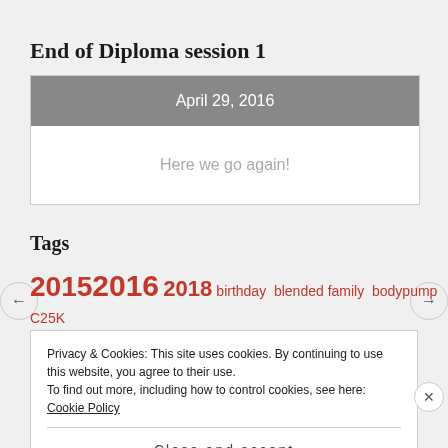End of Diploma session 1
| April 29, 2016 |
| --- |
| Here we go again! |
Tags
2015 2016 2018 birthday blended family bodypump C25K changes clean cleaning
Privacy & Cookies: This site uses cookies. By continuing to use this website, you agree to their use. To find out more, including how to control cookies, see here: Cookie Policy
Close and accept